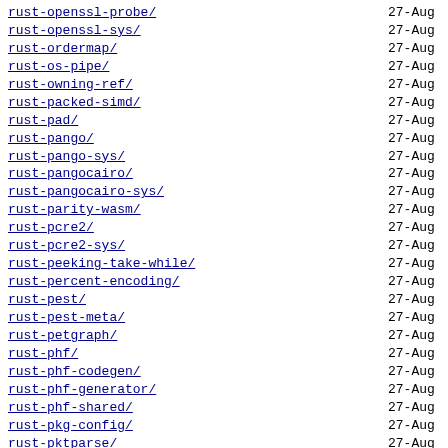rust-openssl-probe/   27-Aug
rust-openssl-sys/   27-Aug
rust-ordermap/   27-Aug
rust-os-pipe/   27-Aug
rust-owning-ref/   27-Aug
rust-packed-simd/   27-Aug
rust-pad/   27-Aug
rust-pango/   27-Aug
rust-pango-sys/   27-Aug
rust-pangocairo/   27-Aug
rust-pangocairo-sys/   27-Aug
rust-parity-wasm/   27-Aug
rust-pcre2/   27-Aug
rust-pcre2-sys/   27-Aug
rust-peeking-take-while/   27-Aug
rust-percent-encoding/   27-Aug
rust-pest/   27-Aug
rust-pest-meta/   27-Aug
rust-petgraph/   27-Aug
rust-phf/   27-Aug
rust-phf-codegen/   27-Aug
rust-phf-generator/   27-Aug
rust-phf-shared/   27-Aug
rust-pkg-config/   27-Aug
rust-pktparse/   27-Aug
rust-plain/   27-Aug
rust-pledge/   27-Aug
rust-pocket-resources/   27-Aug
rust-podio/   27-Aug
rust-precomputed-hash/   27-Aug